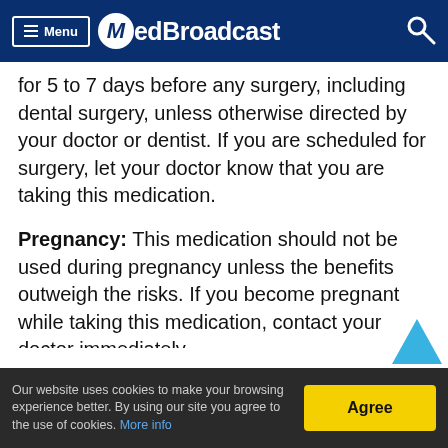Menu | MedBroadcast
for 5 to 7 days before any surgery, including dental surgery, unless otherwise directed by your doctor or dentist. If you are scheduled for surgery, let your doctor know that you are taking this medication.
Pregnancy: This medication should not be used during pregnancy unless the benefits outweigh the risks. If you become pregnant while taking this medication, contact your doctor immediately.
Breast feeding: Codeine passes into breast milk. Some of the codeine dose is converted into morphine by the body, once it has been taken. For some people, this change happens much faster than for others. If this
Our website uses cookies to make your browsing experience better. By using our site you agree to the use of cookies. More info | Agree